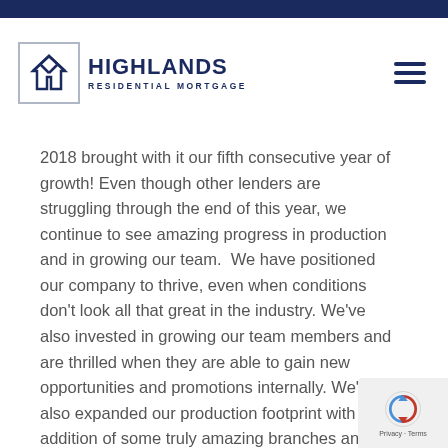[Figure (logo): Highlands Residential Mortgage logo with stylized H icon in a bordered box and company name text]
2018 brought with it our fifth consecutive year of growth! Even though other lenders are struggling through the end of this year, we continue to see amazing progress in production and in growing our team.  We have positioned our company to thrive, even when conditions don't look all that great in the industry. We've also invested in growing our team members and are thrilled when they are able to gain new opportunities and promotions internally. We've also expanded our production footprint with the addition of some truly amazing branches and loan